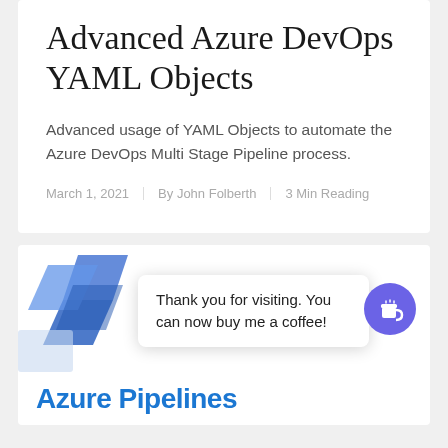Advanced Azure DevOps YAML Objects
Advanced usage of YAML Objects to automate the Azure DevOps Multi Stage Pipeline process.
March 1, 2021  By John Folberth  3 Min Reading
[Figure (illustration): Azure Pipelines logo graphic — blue overlapping shield/arrow shapes]
Thank you for visiting. You can now buy me a coffee!
Azure Pipelines